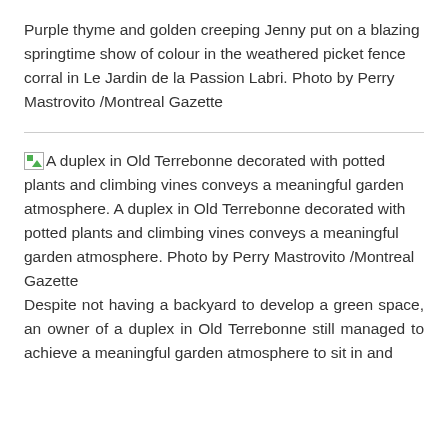Purple thyme and golden creeping Jenny put on a blazing springtime show of colour in the weathered picket fence corral in Le Jardin de la Passion Labri. Photo by Perry Mastrovito /Montreal Gazette
A duplex in Old Terrebonne decorated with potted plants and climbing vines conveys a meaningful garden atmosphere. A duplex in Old Terrebonne decorated with potted plants and climbing vines conveys a meaningful garden atmosphere. Photo by Perry Mastrovito /Montreal Gazette
Despite not having a backyard to develop a green space, an owner of a duplex in Old Terrebonne still managed to achieve a meaningful garden atmosphere to sit in and